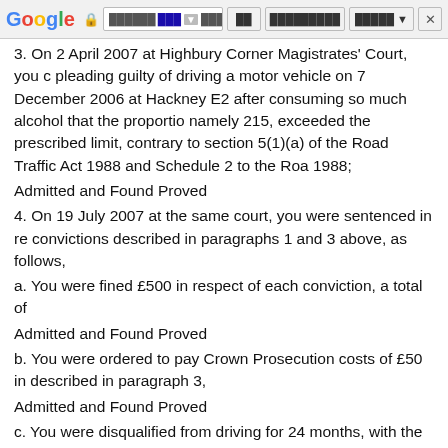Google browser toolbar
3. On 2 April 2007 at Highbury Corner Magistrates' Court, you c pleading guilty of driving a motor vehicle on 7 December 2006 at Hackney E2 after consuming so much alcohol that the proportio namely 215, exceeded the prescribed limit, contrary to section 5(1)(a) of the Road Traffic Act 1988 and Schedule 2 to the Roa 1988;
Admitted and Found Proved
4. On 19 July 2007 at the same court, you were sentenced in re convictions described in paragraphs 1 and 3 above, as follows,
a. You were fined £500 in respect of each conviction, a total of
Admitted and Found Proved
b. You were ordered to pay Crown Prosecution costs of £50 in described in paragraph 3,
Admitted and Found Proved
c. You were disqualified from driving for 24 months, with the pe be reduced by six months if a certificate of completion of the dr course was received by 13 November 2008, and
Admitted and Found Proved
d. particulars of each conviction were to be endorsed on any lic
Admitted and Found Proved